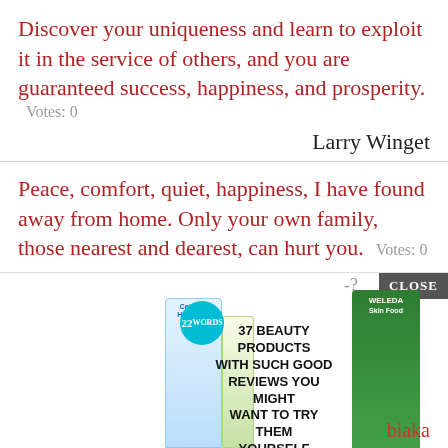Discover your uniqueness and learn to exploit it in the service of others, and you are guaranteed success, happiness, and prosperity.   Votes: 0
Larry Winget
Peace, comfort, quiet, happiness, I have found away from home. Only your own family, those nearest and dearest, can hurt you.   Votes: 0
Mary Boykin Chesnut
You solely owe success and happiness to yourself. So why not make your inner... proud ...? Votes:
[Figure (infographic): Advertisement overlay showing beauty products (Cetaphil and Weleda tubes) with text '37 BEAUTY PRODUCTS WITH SUCH GOOD REVIEWS YOU MIGHT WANT TO TRY THEM YOURSELF', a teal badge with '22', and a CLOSE button.]
biaka